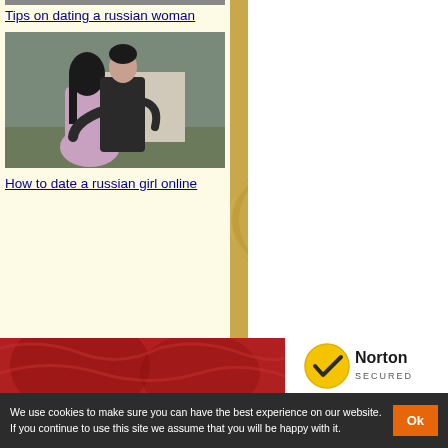Tips on dating a russian woman
[Figure (photo): Couple embracing outdoors, woman with long dark hair in floral dress, man in dark shirt]
How to date a russian girl online
[Figure (photo): Red decorative banner footer area]
[Figure (logo): Norton Secured logo with yellow circle and checkmark]
We use cookies to make sure you can have the best experience on our website. If you continue to use this site we assume that you will be happy with it.